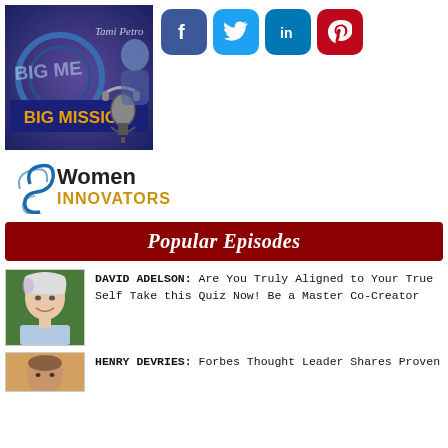[Figure (illustration): Big Message Big Mission podcast banner with blue/purple background and yellow text, showing a woman and microphone]
[Figure (illustration): Social media icons: Facebook (blue), Twitter (light blue), LinkedIn (blue), Pinterest (red)]
[Figure (logo): Women Innovators logo with blue swirl and gold INNOVATORS text]
Popular Episodes
[Figure (photo): Headshot of David Adelson, white-haired man smiling outdoors]
DAVID ADELSON: Are You Truly Aligned to Your True Self Take this Quiz Now! Be a Master Co-Creator
[Figure (photo): Headshot of Henry DeVries]
HENRY DEVRIES: Forbes Thought Leader Shares Proven